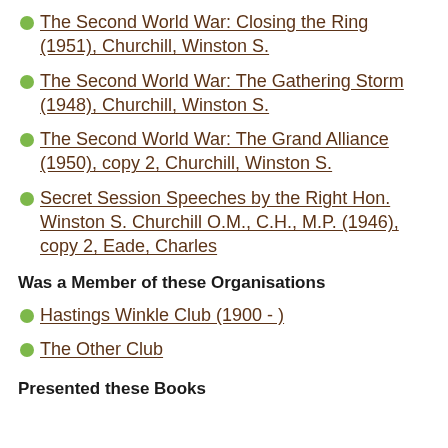The Second World War: Closing the Ring (1951), Churchill, Winston S.
The Second World War: The Gathering Storm (1948), Churchill, Winston S.
The Second World War: The Grand Alliance (1950), copy 2, Churchill, Winston S.
Secret Session Speeches by the Right Hon. Winston S. Churchill O.M., C.H., M.P. (1946), copy 2, Eade, Charles
Was a Member of these Organisations
Hastings Winkle Club (1900 - )
The Other Club
Presented these Books